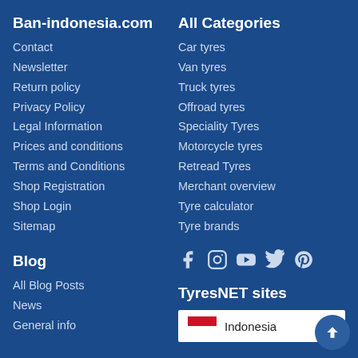Ban-indonesia.com
Contact
Newsletter
Return policy
Privacy Policy
Legal Information
Prices and conditions
Terms and Conditions
Shop Registration
Shop Login
Sitemap
Blog
All Blog Posts
News
General info
All Categories
Car tyres
Van tyres
Truck tyres
Offroad tyres
Speciality Tyres
Motorcycle tyres
Retread Tyres
Merchant overview
Tyre calculator
Tyre brands
[Figure (infographic): Social media icons: Facebook, Instagram, YouTube, Twitter, Pinterest]
TyresNET sites
[Figure (infographic): Indonesia flag with text 'Indonesia' in a white box]